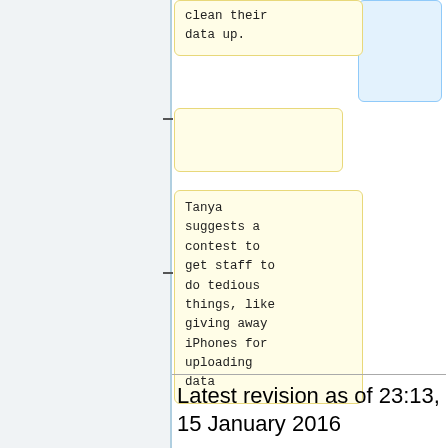[Figure (flowchart): A flowchart/timeline showing two yellow rounded-rectangle boxes connected by dashes. The top box (partially visible) contains 'clean their data up.' A second empty yellow box is in the middle. A third large yellow box contains 'Tanya suggests a contest to get staff to do tedious things, like giving away iPhones for uploading data'. A blue box is at the top right (partially visible, empty). Vertical connection lines link the boxes.]
Latest revision as of 23:13, 15 January 2016
Description
Designing and implementing custom